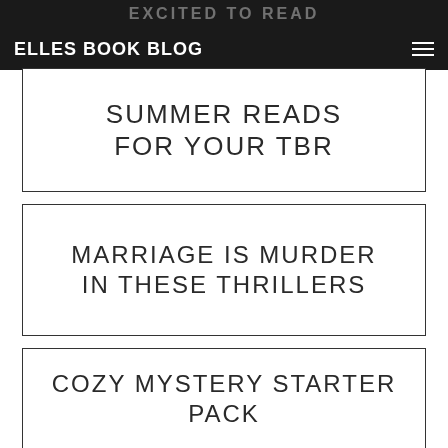ELLES BOOK BLOG
SUMMER READS FOR YOUR TBR
MARRIAGE IS MURDER IN THESE THRILLERS
COZY MYSTERY STARTER PACK